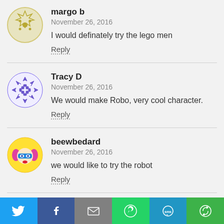[Figure (illustration): Avatar for margo b - circular dice/snowflake design in olive/yellow tones]
margo b
November 26, 2016

I would definately try the lego men

Reply
[Figure (illustration): Avatar for Tracy D - purple snowflake/arrows pattern]
Tracy D
November 26, 2016

We would make Robo, very cool character.

Reply
[Figure (illustration): Avatar for beewbedard - cartoon female face with mask, yellow hair]
beewbedard
November 26, 2016

we would like to try the robot

Reply
[Figure (illustration): Partial avatar for Karry Knisley - blue fish arrows icon]
Karry Knisley
[Figure (infographic): Social share bar with icons: Twitter (blue), Facebook (dark blue), Email (gray), WhatsApp (green), SMS (blue), Share (green)]